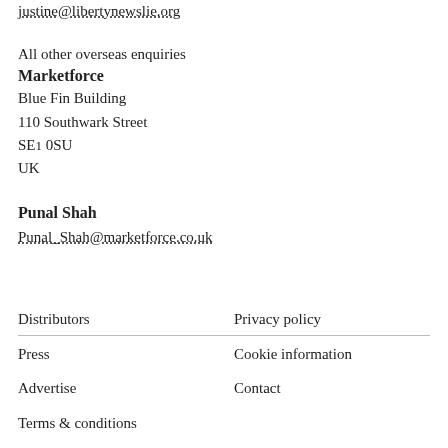justine@libertynewslie.org
All other overseas enquiries
Marketforce
Blue Fin Building
110 Southwark Street
SE1 0SU
UK
Punal Shah
Punal_Shah@marketforce.co.uk
Distributors
Privacy policy
Press
Cookie information
Advertise
Contact
Terms & conditions